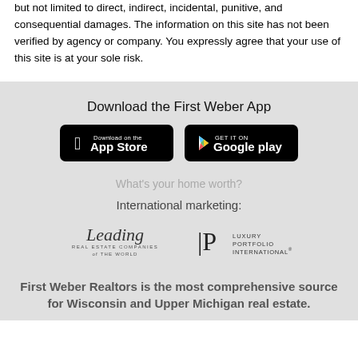but not limited to direct, indirect, incidental, punitive, and consequential damages. The information on this site has not been verified by agency or company. You expressly agree that your use of this site is at your sole risk.
Download the First Weber App
[Figure (logo): Download on the App Store button (black rounded rectangle with Apple logo)]
[Figure (logo): Get it on Google Play button (black rounded rectangle with Google Play logo)]
What's your home worth?
International marketing:
[Figure (logo): Leading Real Estate Companies of the World logo]
[Figure (logo): Luxury Portfolio International logo]
First Weber Realtors is the most comprehensive source for Wisconsin and Upper Michigan real estate.